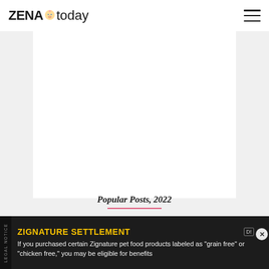ZENA today
Popular Posts, 2022
How To Remove Paint Stains
ZIGNATURE SETTLEMENT
If you purchased certain Zignature pet food products labeled as "grain free" or "chicken free," you may be eligible for benefits